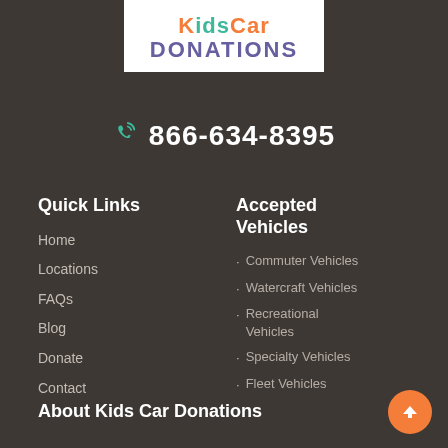[Figure (logo): Kids Car Donations logo with colorful text on white background]
866-634-8395
Quick Links
Home
Locations
FAQs
Blog
Donate
Contact
Accepted Vehicles
Commuter Vehicles
Watercraft Vehicles
Recreational Vehicles
Specialty Vehicles
Fleet Vehicles
About Kids Car Donations